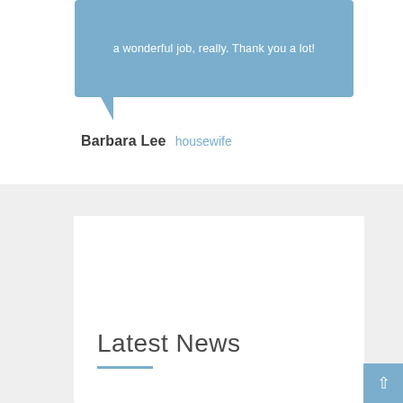a wonderful job, really. Thank you a lot!
Barbara Lee  housewife
Latest News